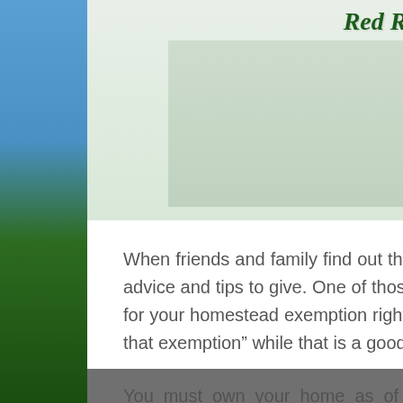Red River Title Company
[Figure (photo): House/home image used as header banner for Red River Title Company]
When friends and family find out that you are purchasing a new home they have tons of advice and tips to give. One of those tips you might have heard was “You need to go file for your homestead exemption right away once you close on your home, so you can get that exemption” while that is a good tip, it’s not exactly being conveyed to you correctly.
You must own your home as of January 1st of that year to be eligible to file for homestead exemption. This means if you bought your home in December of 2017 then when January 1st of
Share This ⌄